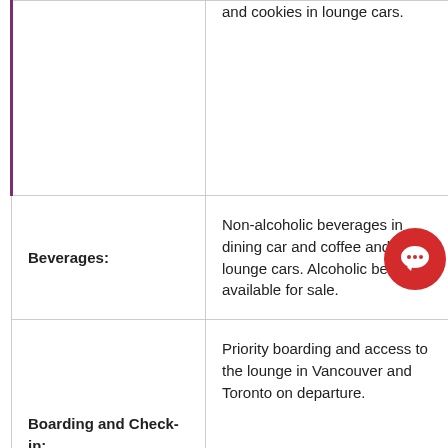| Category | Description |  |
| --- | --- | --- |
|  | and cookies in lounge cars. |  |
| Beverages: | Non-alcoholic beverages in dining car and coffee and tea in lounge cars. Alcoholic beverages available for sale. |  |
| Boarding and Check-in: | Priority boarding and access to the lounge in Vancouver and Toronto on departure. |  |